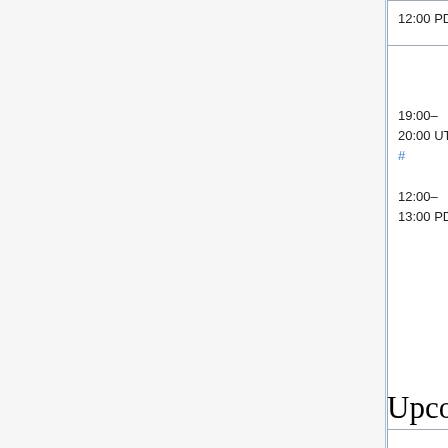| Time | Event | Person |
| --- | --- | --- |
| 12:00 PDT |  | (Urban... |
| 19:00–20:00 UTC
#
12:00–13:00 PDT | Mediawiki train - European+American Version (secondary timeslot) | Antoine
Mukun
(twent... |
| 23:00–00:00 UTC
#
16:00–17:00 PDT | Evening SWAT
(Max 6 patches) | Roan
(Roank
Niharik
(Nihar
(Urban... |
Upcoming events